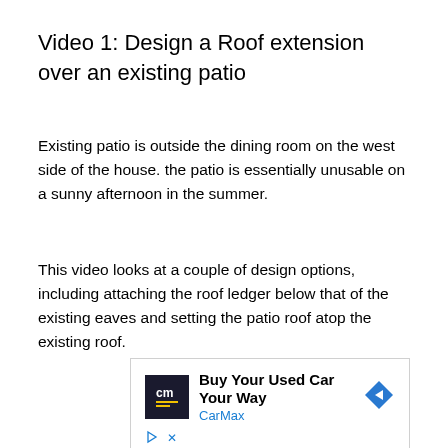Video 1: Design a Roof extension over an existing patio
Existing patio is outside the dining room on the west side of the house. the patio is essentially unusable on a sunny afternoon in the summer.
This video looks at a couple of design options, including attaching the roof ledger below that of the existing eaves and setting the patio roof atop the existing roof.
[Figure (other): Advertisement banner for CarMax: 'Buy Your Used Car Your Way' with CarMax logo and navigation arrow icon, plus play and close controls.]